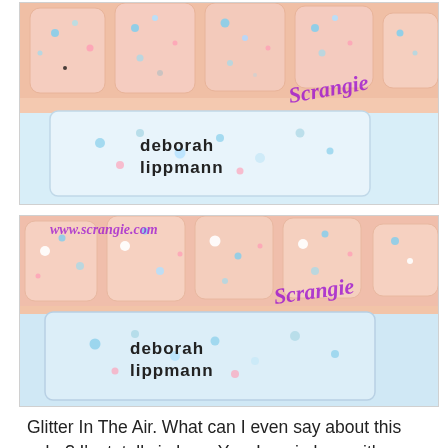[Figure (photo): Close-up photo of pink nails with blue, pink, and silver glitter polish applied, alongside a nail polish bottle labeled 'deborah lippmann' with glitter visible inside the clear bottle. Watermark reads 'Scrangie' and 'www.scrangie.com'.]
[Figure (photo): Second close-up photo of pink nails with sparse blue, white, and pink glitter pieces, alongside the same 'deborah lippmann' nail polish bottle. Watermark reads 'www.scrangie.com' and 'Scrangie'.]
Glitter In The Air. What can I even say about this color? I'm totally in love. Yes, I am in love with a sheer polish. It's true.